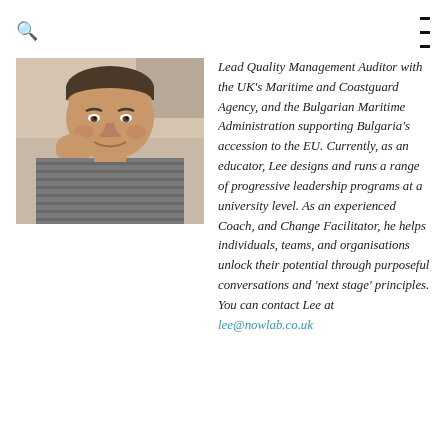🔍  ≡
[Figure (photo): Portrait photo of a man resting his chin on his hand, smiling slightly, wearing a striped grey shirt]
Lead Quality Management Auditor with the UK's Maritime and Coastguard Agency, and the Bulgarian Maritime Administration supporting Bulgaria's accession to the EU. Currently, as an educator, Lee designs and runs a range of progressive leadership programs at a university level. As an experienced Coach, and Change Facilitator, he helps individuals, teams, and organisations unlock their potential through purposeful conversations and 'next stage' principles. You can contact Lee at lee@nowlab.co.uk